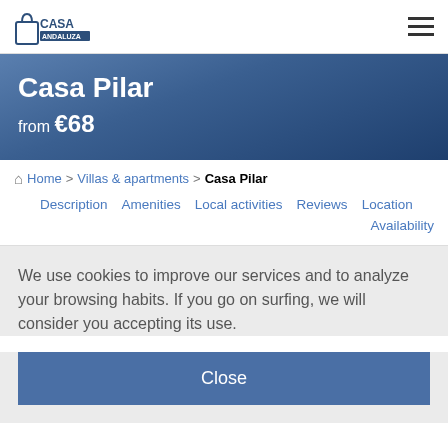Casa Andaluza logo, hamburger menu
Casa Pilar
from €68
Home > Villas & apartments > Casa Pilar
Description  Amenities  Local activities  Reviews  Location  Availability
We use cookies to improve our services and to analyze your browsing habits. If you go on surfing, we will consider you accepting its use.
Close